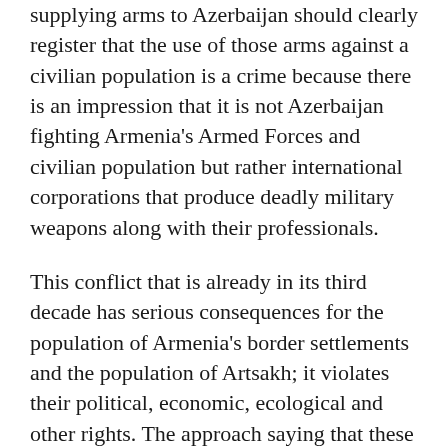supplying arms to Azerbaijan should clearly register that the use of those arms against a civilian population is a crime because there is an impression that it is not Azerbaijan fighting Armenia's Armed Forces and civilian population but rather international corporations that produce deadly military weapons along with their professionals.
This conflict that is already in its third decade has serious consequences for the population of Armenia's border settlements and the population of Artsakh; it violates their political, economic, ecological and other rights. The approach saying that these rights can only be practiced after the settlement of the conflict is not acceptable. The right of the people living in the conflict zone should be a primary component of the